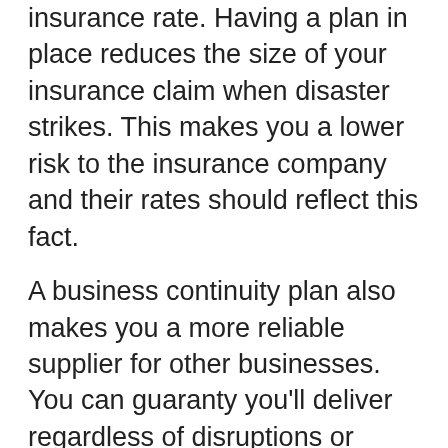insurance rate. Having a plan in place reduces the size of your insurance claim when disaster strikes. This makes you a lower risk to the insurance company and their rates should reflect this fact.
A business continuity plan also makes you a more reliable supplier for other businesses. You can guaranty you'll deliver regardless of disruptions or disasters. Make this one of your selling points.
Small Businesses Aren't at Risk
The same disruptions or disasters that affect large businesses also affect small businesses. One disaster many small businesses feel exempt from is